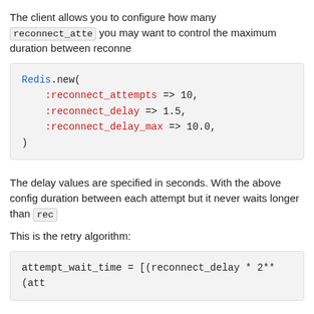The client allows you to configure how many reconnect_attempts you may want to control the maximum duration between reconnections.
[Figure (screenshot): Code block showing Redis.new( :reconnect_attempts => 10, :reconnect_delay => 1.5, :reconnect_delay_max => 10.0, )]
The delay values are specified in seconds. With the above configuration, the duration between each attempt but it never waits longer than reconnect_delay_max.
This is the retry algorithm:
[Figure (screenshot): Code block: attempt_wait_time = [(reconnect_delay * 2**(attempt_number), reconnect_delay_max)].min]
By default, this gem will only retry a connection once and then this:
|Attempt wait time|Total wait time